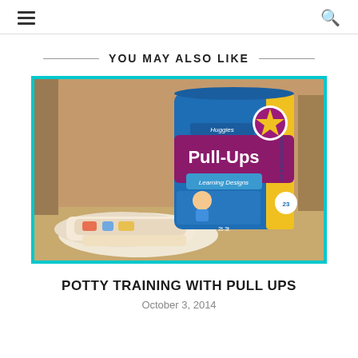≡ 🔍
YOU MAY ALSO LIKE
[Figure (photo): A package of Huggies Pull-Ups Learning Designs for 2t-3t, blue packaging with a star badge, sitting on a shelf next to loose diapers.]
POTTY TRAINING WITH PULL UPS
October 3, 2014